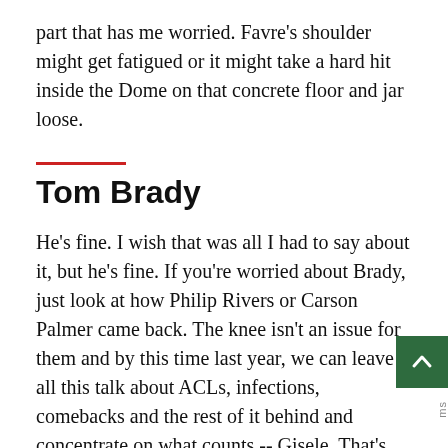part that has me worried. Favre's shoulder might get fatigued or it might take a hard hit inside the Dome on that concrete floor and jar loose.
Tom Brady
He's fine. I wish that was all I had to say about it, but he's fine. If you're worried about Brady, just look at how Philip Rivers or Carson Palmer came back. The knee isn't an issue for them and by this time last year, we can leave all this talk about ACLs, infections, comebacks and the rest of it behind and concentrate on what counts -- Gisele. That's not say that Brady's without risk. The same thing that happened last year, an unhappy accident, could happen again. Maybe not his knee, but something. That's the same risk everyone on the field faces on